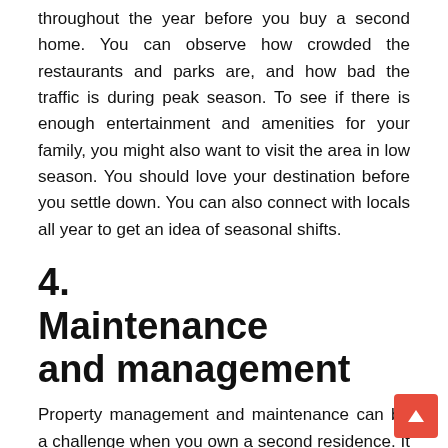throughout the year before you buy a second home. You can observe how crowded the restaurants and parks are, and how bad the traffic is during peak season. To see if there is enough entertainment and amenities for your family, you might also want to visit the area in low season. You should love your destination before you settle down. You can also connect with locals all year to get an idea of seasonal shifts.
4.   Maintenance and management
Property management and maintenance can be a challenge when you own a second residence. It is crucial to find a trustworthy local property manager. This is true for maintenance people, landscapers and other home service providers. While they are not cheap, having reliable people to inspect your home after a storm, or fix